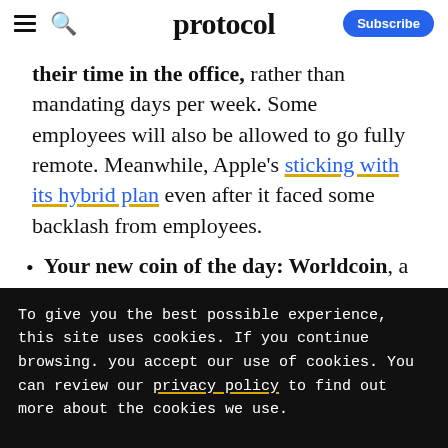protocol — Subscribe
their time in the office, rather than mandating days per week. Some employees will also be allowed to go fully remote. Meanwhile, Apple's sticking with its hybrid plan even after it faced some backlash from employees.
Your new coin of the day: Worldcoin, a
To give you the best possible experience, this site uses cookies. If you continue browsing. you accept our use of cookies. You can review our privacy policy to find out more about the cookies we use.
Accept